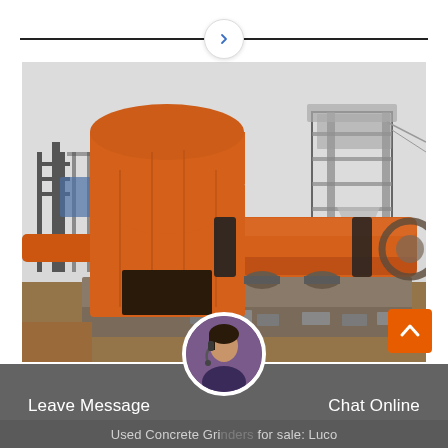>
[Figure (photo): Industrial rotary kiln equipment (orange/red) on a construction site with steel scaffolding towers in the background, overcast sky, red/brown dirt ground.]
Leave Message
Chat Online
Used Concrete Grinders for sale: Luco